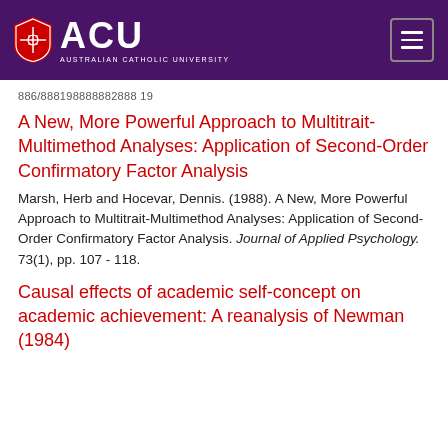[Figure (logo): ACU (Australian Catholic University) logo on purple header background with hamburger menu icon]
886/888198888882888 19
A New, More Powerful Approach to Multitrait-Multimethod Analyses: Application of Second-Order Confirmatory Factor Analysis
Marsh, Herb and Hocevar, Dennis. (1988). A New, More Powerful Approach to Multitrait-Multimethod Analyses: Application of Second-Order Confirmatory Factor Analysis. Journal of Applied Psychology. 73(1), pp. 107 - 118.
Causal effects of academic self-concept on academic achievement: A reanalysis of Newman (1984)